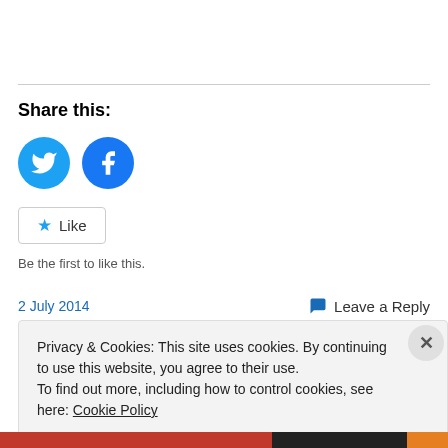Share this:
[Figure (illustration): Twitter and Facebook social sharing icon buttons (blue circles with white bird and f logos)]
Like
Be the first to like this.
2 July 2014
Leave a Reply
Privacy & Cookies: This site uses cookies. By continuing to use this website, you agree to their use. To find out more, including how to control cookies, see here: Cookie Policy
Close and accept